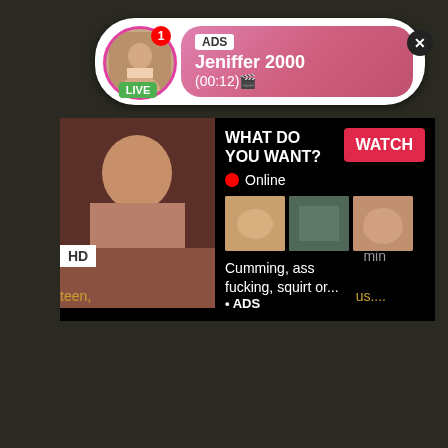[Figure (screenshot): Adult website screenshot with notification popup showing user 'Jeniffer 2000' with LIVE badge and ADS label, and a main ad banner below with 'WHAT DO YOU WANT?' headline, WATCH button, Online indicator, thumbnail images, and text 'Cumming, ass fucking, squirt or... ADS']
ADS
Jeniffer 2000
(00:12)🎬
LIVE
WHAT DO YOU WANT?
WATCH
Online
Cumming, ass fucking, squirt or...
• ADS
HD
min
teen,
us....